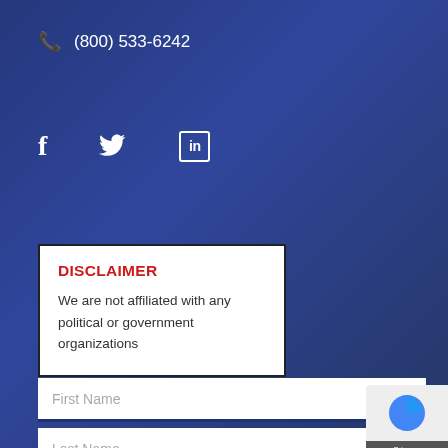(800) 533-6242
[Figure (infographic): Social media icons: Facebook (f), Twitter (bird/t), LinkedIn (in box)]
DISCLAIMER
We are not affiliated with any political or government organizations
First Name
Last Name